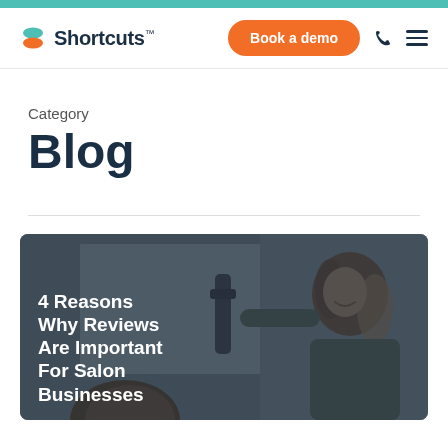Shortcuts — Book a demo
Category
Blog
[Figure (photo): Blog post card showing a hairdresser smiling and working on a client's hair, with white overlay text reading '4 Reasons Why Reviews Are Important For Salon Businesses']
4 Reasons Why Reviews Are Important For Salon Businesses